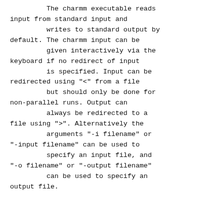The charmm executable reads input from standard input and         writes to standard output by default. The charmm input can be         given interactively via the keyboard if no redirect of input         is specified. Input can be redirected using "<" from a file         but should only be done for non-parallel runs. Output can         always be redirected to a file using ">". Alternatively the         arguments "-i filename" or "-input filename" can be used to         specify an input file, and "-o filename" or "-output filename"         can be used to specify an output file.